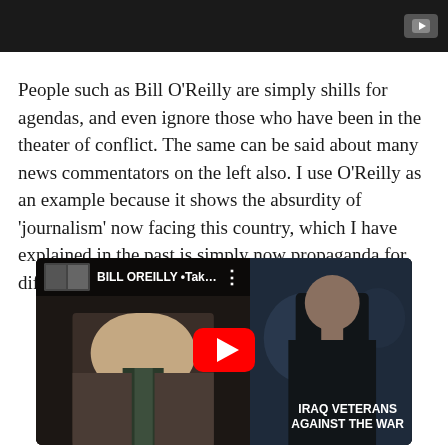[Figure (screenshot): Top portion of a YouTube video embed showing dark background with YouTube icon in top right corner]
People such as Bill O’Reilly are simply shills for agendas, and even ignore those who have been in the theater of conflict. The same can be said about many news commentators on the left also. I use O’Reilly as an example because it shows the absurdity of ‘journalism’ now facing this country, which I have explained in the past is simply now propaganda for different pressure groups.
[Figure (screenshot): YouTube video thumbnail showing Bill O'Reilly on left side and a man wearing 'Iraq Veterans Against the War' shirt on the right. Video title reads 'BILL OREILLY •Taken Down• B...' with a red YouTube play button in the center.]